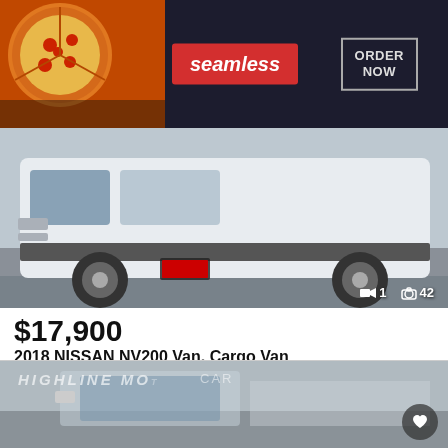[Figure (photo): Seamless food delivery advertisement banner with pizza image, red Seamless logo, and ORDER NOW button]
[Figure (photo): White 2018 Nissan NV200 Cargo Van front/side view photo with image counter showing 1 video and 42 photos]
$17,900
2018 NISSAN NV200 Van, Cargo Van
146,558 miles
F.A. Motorcars - Website ⧉
San Antonio, TX - 1,366 mi. away
Email
Call
View our F.A. Motorcars location
Look Now
[Figure (photo): Highline Motors car dealership van partially visible at bottom of page with heart/favorite button]